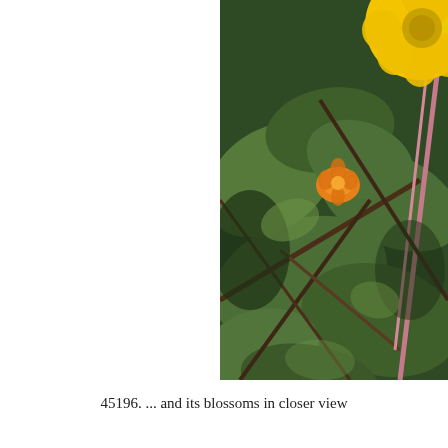[Figure (photo): Close-up photograph of plant blossoms and green leaves with dark stems. A large yellow flower is visible in the upper right corner, with a smaller orange blossom in the center, set against a background of green foliage and dark stems.]
45196. ... and its blossoms in closer view